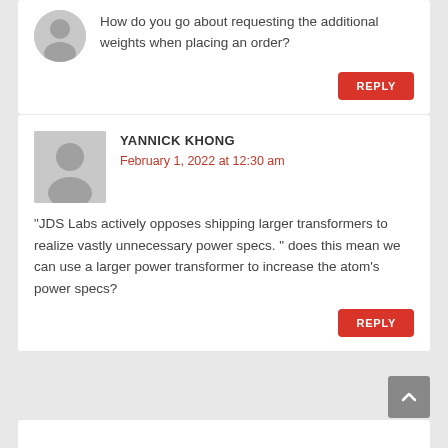How do you go about requesting the additional weights when placing an order?
REPLY
YANNICK KHONG
February 1, 2022 at 12:30 am
“JDS Labs actively opposes shipping larger transformers to realize vastly unnecessary power specs. ” does this mean we can use a larger power transformer to increase the atom’s power specs?
REPLY